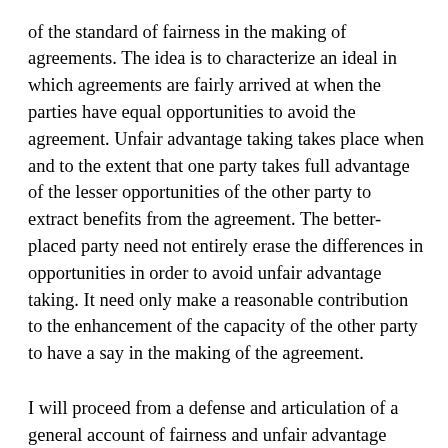of the standard of fairness in the making of agreements. The idea is to characterize an ideal in which agreements are fairly arrived at when the parties have equal opportunities to avoid the agreement. Unfair advantage taking takes place when and to the extent that one party takes full advantage of the lesser opportunities of the other party to extract benefits from the agreement. The better-placed party need not entirely erase the differences in opportunities in order to avoid unfair advantage taking. It need only make a reasonable contribution to the enhancement of the capacity of the other party to have a say in the making of the agreement.
I will proceed from a defense and articulation of a general account of fairness and unfair advantage taking and then applies it to the special context of international agreement making.  This context is distinctive in a variety of ways that are relevant to the assessment of the fairness of the agreements and unfair advantage taking.